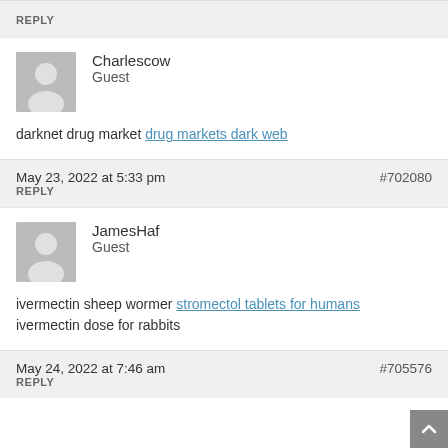REPLY
Charlescow
Guest
darknet drug market drug markets dark web
May 23, 2022 at 5:33 pm  #702080
REPLY
JamesHaf
Guest
ivermectin sheep wormer stromectol tablets for humans
ivermectin dose for rabbits
May 24, 2022 at 7:46 am  #705576
REPLY